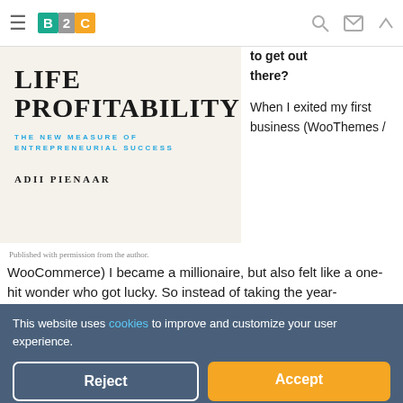B2C [logo] — navigation bar with hamburger menu, search, mail, and up-arrow icons
[Figure (illustration): Book cover for 'Life Profitability: The New Measure of Entrepreneurial Success' by Adii Pienaar, beige/cream background with large serif title and teal subtitle text]
to get out there? When I exited my first business (WooThemes /
Published with permission from the author.
WooCommerce) I became a millionaire, but also felt like a one-hit wonder who got lucky. So instead of taking the year-lon... t back into my wellness to prove that I wasn't a one-hit wonder.
I thought that second business would be much easier (I had the skills, experience, capital, etc.) and the first two years were great. But then one day I realised that I had
This website uses cookies to improve and customize your user experience.
Reject
Accept